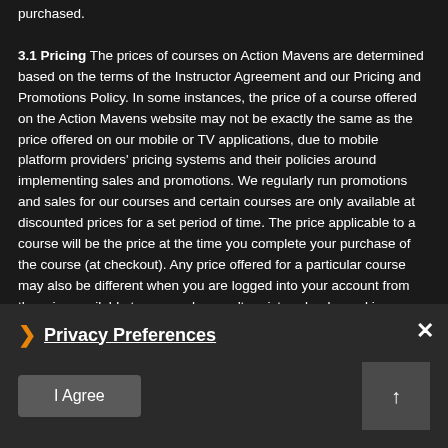purchased.
3.1 Pricing The prices of courses on Action Mavens are determined based on the terms of the Instructor Agreement and our Pricing and Promotions Policy. In some instances, the price of a course offered on the Action Mavens website may not be exactly the same as the price offered on our mobile or TV applications, due to mobile platform providers' pricing systems and their policies around implementing sales and promotions. We regularly run promotions and sales for our courses and certain courses are only available at discounted prices for a set period of time. The price applicable to a course will be the price at the time you complete your purchase of the course (at checkout). Any price offered for a particular course may also be different when you are logged into your account from the price available to users who aren't registered or logged in, because some of our promotions are available to new users only. If you are logged into your account, the listed currency you see is based on your location when you created your account. If you are not logged into your account, the price currency is based on the country where you are located. We do not enable users to see pricing in other currencies. If you are a student located in a country where use and sales tax, goods and services tax, or value added tax is applicable to consumer sales, we are responsible for collecting and remitting to the proper tax authorities. In certain countries, the price you see may include such taxes.
Privacy Preferences